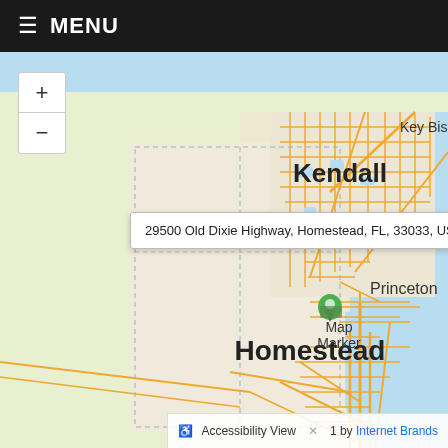≡ MENU
[Figure (map): Map showing Homestead, FL area with roads and water bodies. A map marker is placed at Princeton near Homestead. Kendall is visible to the north, Key Biscayne to the northeast. The map shows orange road lines on light green/beige land with blue water on the right side.]
29500 Old Dixie Highway, Homestead, FL, 33033, US
Accessibility View | by Internet Brands